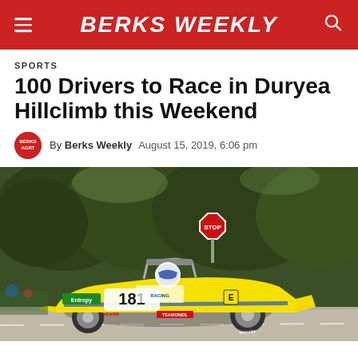BERKS WEEKLY
SPORTS
100 Drivers to Race in Duryea Hillclimb this Weekend
By Berks Weekly   August 15, 2019, 6:06 pm
[Figure (photo): A yellow open-wheel hillclimb race car numbered 181, branded with Entropy, EVSR, and TeamONeil logos, driven by a helmeted driver on a sunlit road with trees and a stop sign in the background.]